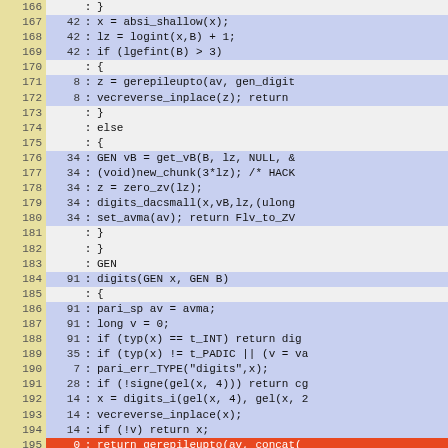[Figure (screenshot): Source code viewer showing lines 166-196 with line numbers, hit counts, and code content. Lines with hit counts are highlighted in blue/purple, one line (195) highlighted in orange/red.]